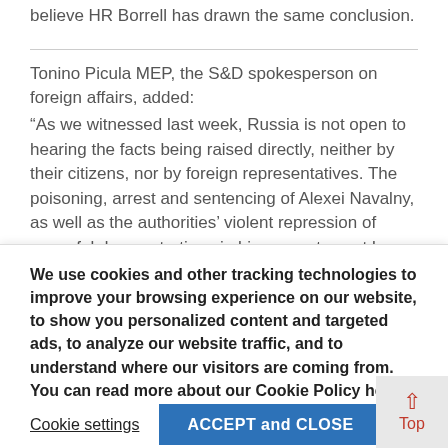believe HR Borrell has drawn the same conclusion.
Tonino Picula MEP, the S&D spokesperson on foreign affairs, added:
“As we witnessed last week, Russia is not open to hearing the facts being raised directly, neither by their citizens, nor by foreign representatives. The poisoning, arrest and sentencing of Alexei Navalny, as well as the authorities’ violent repression of peaceful demonstrations in his support, must be addressed at the Foreign Affairs Council. They should finally make use of the new global human-
We use cookies and other tracking technologies to improve your browsing experience on our website, to show you personalized content and targeted ads, to analyze our website traffic, and to understand where our visitors are coming from. You can read more about our Cookie Policy here
Cookie settings
ACCEPT and CLOSE
Top